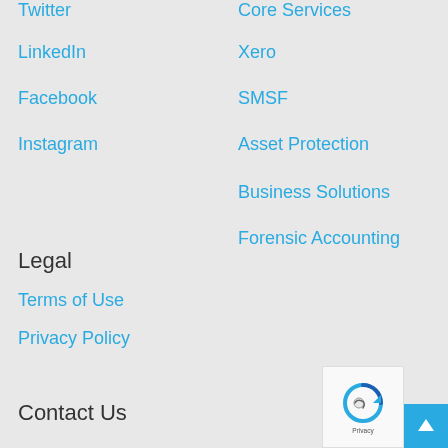Twitter
Core Services
LinkedIn
Xero
Facebook
SMSF
Instagram
Asset Protection
Business Solutions
Forensic Accounting
Legal
Terms of Use
Privacy Policy
Contact Us